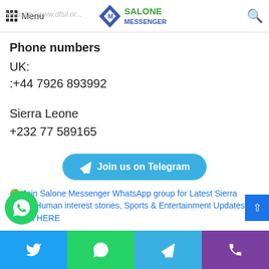Salone Messenger — navigation bar with menu, logo, and search
Website : www.dfsil.or...
Phone numbers
UK:
:+44 7926 893992
Sierra Leone
+232 77 589165
[Figure (other): Telegram join button — rounded blue button with Telegram paper-plane icon and text 'Join us on Telegram']
🟢 Join Salone Messenger WhatsApp group for Latest Sierra Leone Human interest stories, Sports & Entertainment Updates - CLICK HERE
Follow Salone Messenger on Facebook | Facebook Group
Bottom share bar: Twitter, WhatsApp, Telegram, Phone icons; WhatsApp FAB button